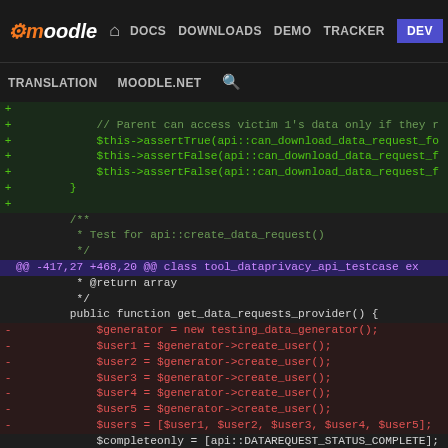moodle  DOCS  DOWNLOADS  DEMO  TRACKER  DEV  |  TRANSLATION  MOODLE.NET  [search]
[Figure (screenshot): Moodle developer site navigation bar with logo and links: DOCS, DOWNLOADS, DEMO, TRACKER, DEV (active/highlighted), TRANSLATION, MOODLE.NET, search icon]
Code diff showing PHP test file changes. Added lines (green +) include comments and assertTrue/assertFalse calls. Diff header shows @@ -417,27 +468,20 @@ class tool_dataprivacy_api_testcase. Code includes get_data_requests_provider() function with removed lines (red -) for $generator, $user1-$user5, $users variables, and neutral lines for $completeonly, $completeandcancelled, return [, // Own data requests.